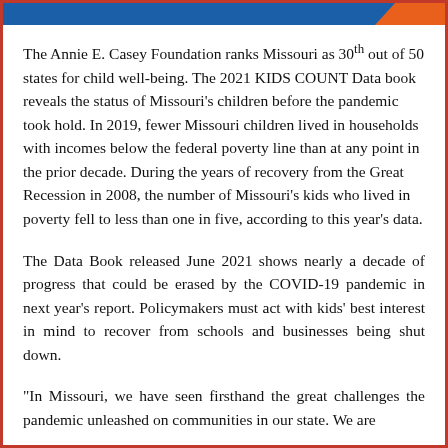[Figure (other): Blue banner header with orange accent at top right corner]
The Annie E. Casey Foundation ranks Missouri as 30th out of 50 states for child well-being. The 2021 KIDS COUNT Data book reveals the status of Missouri's children before the pandemic took hold. In 2019, fewer Missouri children lived in households with incomes below the federal poverty line than at any point in the prior decade. During the years of recovery from the Great Recession in 2008, the number of Missouri's kids who lived in poverty fell to less than one in five, according to this year's data.
The Data Book released June 2021 shows nearly a decade of progress that could be erased by the COVID-19 pandemic in next year's report. Policymakers must act with kids' best interest in mind to recover from schools and businesses being shut down.
"In Missouri, we have seen firsthand the great challenges the pandemic unleashed on communities in our state. We are fortunate to be one example of 20 Community Partnerships...